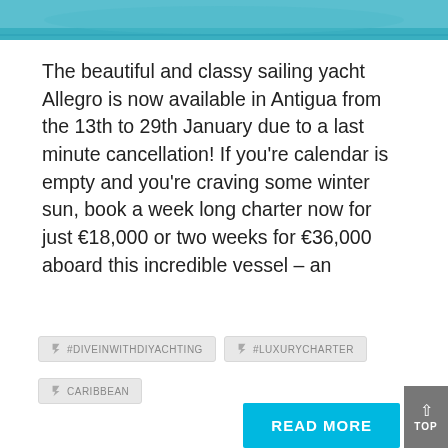[Figure (photo): Cropped top portion of sailing yacht photo with blue water/sky background]
The beautiful and classy sailing yacht Allegro is now available in Antigua from the 13th to 29th January due to a last minute cancellation! If you're calendar is empty and you're craving some winter sun, book a week long charter now for just €18,000 or two weeks for €36,000 aboard this incredible vessel – an
#DIVEINWITHDIYACHTING
#LUXURYCHARTER
CARIBBEAN